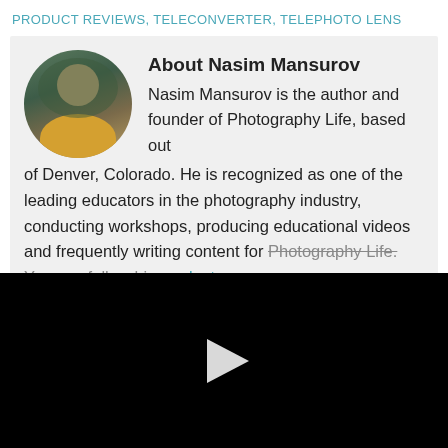PRODUCT REVIEWS, TELECONVERTER, TELEPHOTO LENS
About Nasim Mansurov
Nasim Mansurov is the author and founder of Photography Life, based out of Denver, Colorado. He is recognized as one of the leading educators in the photography industry, conducting workshops, producing educational videos and frequently writing content for Photography Life. You can follow him on Instagram
[Figure (photo): Black video player area with a white play button triangle in the center]